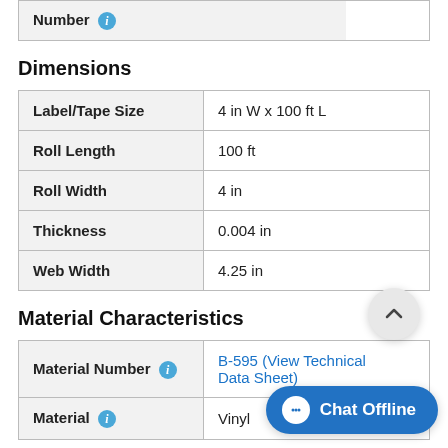| Number ⓘ |  |
| --- | --- |
| Number ⓘ |  |
Dimensions
| Property | Value |
| --- | --- |
| Label/Tape Size | 4 in W x 100 ft L |
| Roll Length | 100 ft |
| Roll Width | 4 in |
| Thickness | 0.004 in |
| Web Width | 4.25 in |
Material Characteristics
| Property | Value |
| --- | --- |
| Material Number ⓘ | B-595 (View Technical Data Sheet) |
| Material ⓘ | Vinyl |